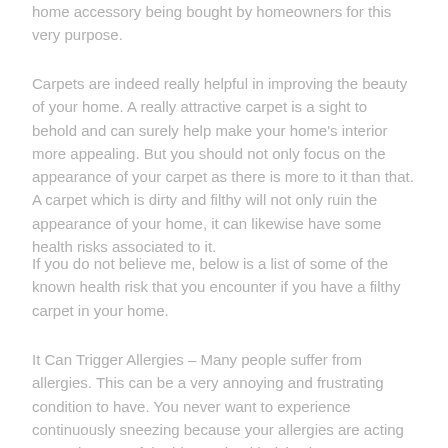home accessory being bought by homeowners for this very purpose.
Carpets are indeed really helpful in improving the beauty of your home. A really attractive carpet is a sight to behold and can surely help make your home's interior more appealing. But you should not only focus on the appearance of your carpet as there is more to it than that. A carpet which is dirty and filthy will not only ruin the appearance of your home, it can likewise have some health risks associated to it.
If you do not believe me, below is a list of some of the known health risk that you encounter if you have a filthy carpet in your home.
It Can Trigger Allergies – Many people suffer from allergies. This can be a very annoying and frustrating condition to have. You never want to experience continuously sneezing because your allergies are acting up again. One of the biggest health risks that are associated to dirty and filthy carpets is that it can trigger